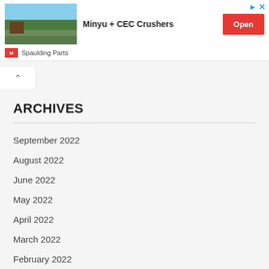[Figure (infographic): Advertisement banner for Minyu + CEC Crushers by Spaulding Parts, showing a green field/quarry image, bold text 'Minyu + CEC Crushers', a red 'Open' button, and the Spaulding Parts logo with brand name. Ad controls (arrow and X) in top right.]
ARCHIVES
September 2022
August 2022
June 2022
May 2022
April 2022
March 2022
February 2022
January 2022